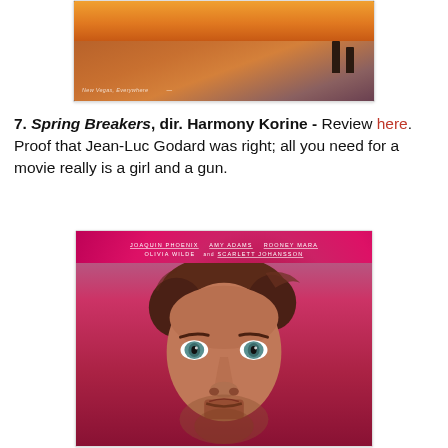[Figure (photo): Top portion of a movie still showing figures in a warm orange/sunset-lit scene with a tiled floor]
7. Spring Breakers, dir. Harmony Korine - Review here. Proof that Jean-Luc Godard was right; all you need for a movie really is a girl and a gun.
[Figure (photo): Movie poster for 'Her' on a pink/magenta background showing Joaquin Phoenix's face with cast names: JOAQUIN PHOENIX, AMY ADAMS, ROONEY MARA, OLIVIA WILDE, and SCARLETT JOHANSSON]